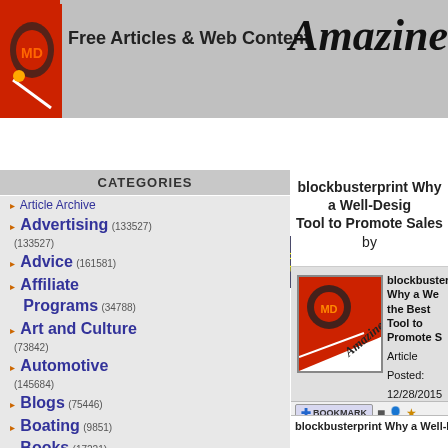Free Articles & Web Content — Amazines
Home | What's New? | Submit/Manage Articles | Latest Posts | Top Rated | Article Search | Google
CATEGORIES
Article Archive
Advertising (133527)
Advice (161581)
Affiliate Programs (34788)
Art and Culture (73842)
Automotive (145684)
Blogs (75446)
Boating (9851)
Books (17221)
Buddhism (4129)
Business (1330104)
Business News (426438)
Business Opportunities (366486)
blockbusterprint Why a Well-Design Tool to Promote Sales by
blockbusterprint Why a Well the Best Tool to Promote S
Article Posted: 12/28/2015
Article Views: 145
Articles Written: 11642 - MORE AUTHOR
Word Count: 550
Article Votes: 0
BOOKMARK
blockbusterprint Why a Well-Designe